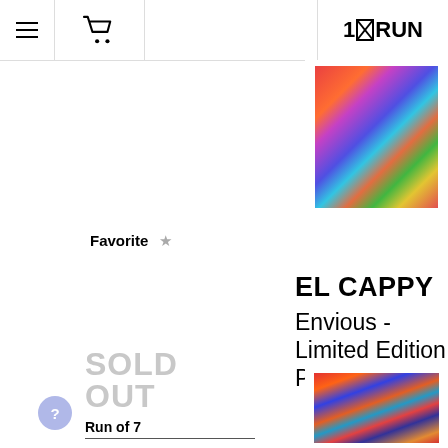1×RUN
[Figure (photo): Top portion of a framed limited edition print by El Cappy showing colorful abstract artwork with vibrant reds, blues and mixed colors]
Favorite ☆
EL CAPPY
Envious - Limited Edition Print
SOLD OUT
Run of 7
[Figure (photo): Framed limited edition print by El Cappy called Envious showing colorful abstract kaleidoscopic artwork with reds, blues, oranges and geometric shapes]